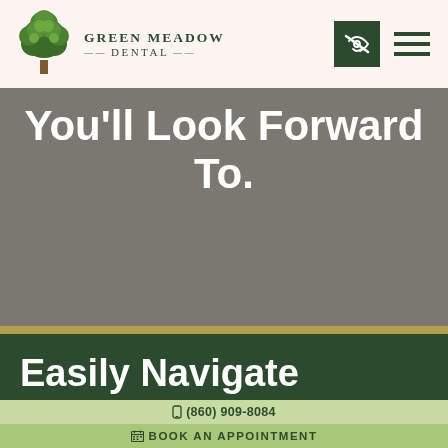[Figure (logo): Green Meadow Dental logo with a green tree icon and text reading GREEN MEADOW DENTAL]
You'll Look Forward To.
Easily Navigate
(860) 909-8084
BOOK AN APPOINTMENT